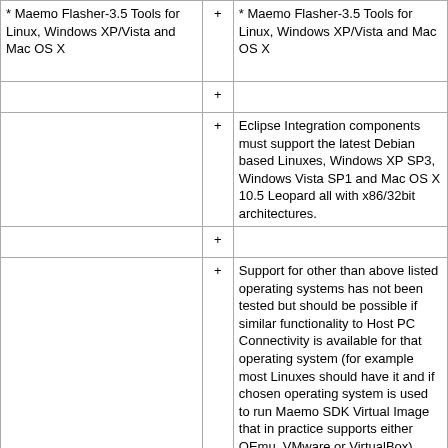| * Maemo Flasher-3.5 Tools for Linux, Windows XP/Vista and Mac OS X | + | * Maemo Flasher-3.5 Tools for Linux, Windows XP/Vista and Mac OS X |
|  | + |  |
|  | + | Eclipse Integration components must support the latest Debian based Linuxes, Windows XP SP3, Windows Vista SP1 and Mac OS X 10.5 Leopard all with x86/32bit architectures. |
|  | + |  |
|  | + | Support for other than above listed operating systems has not been tested but should be possible if similar functionality to Host PC Connectivity is available for that operating system (for example most Linuxes should have it and if chosen operating system is used to run Maemo SDK Virtual Image that in practice supports either QEmu, VMware or VirtualBox). |
| === [http://mica.garage.maemo.org/ Maemo Mica plugin framework] === | + | === [http://mica.garage.maemo.org/ Maemo Mica plugin framework] === |